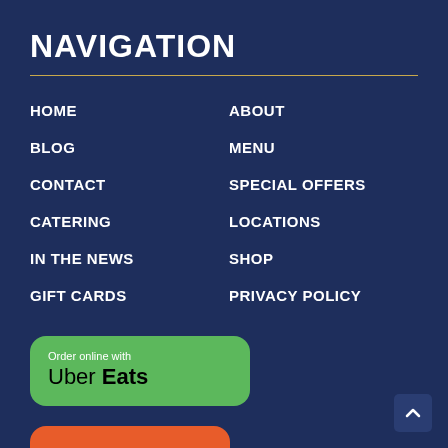NAVIGATION
HOME
ABOUT
BLOG
MENU
CONTACT
SPECIAL OFFERS
CATERING
LOCATIONS
IN THE NEWS
SHOP
GIFT CARDS
PRIVACY POLICY
[Figure (logo): Green rounded button with 'Order online with Uber Eats' text]